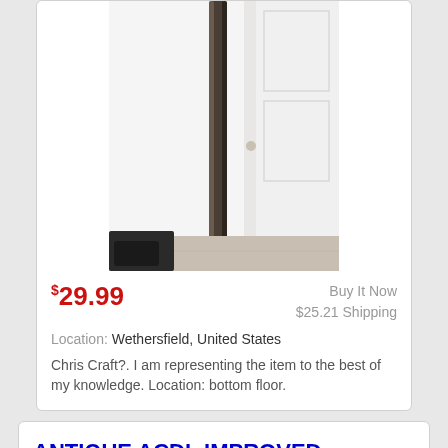[Figure (photo): Photo of a tall dark wooden or metal pole/rod leaning against a white door, resting on a light wood/tile floor. The item appears to be a lamp pole or similar elongated object.]
$29.99
Buy It Now
$25.21 Shipping
Location: Wethersfield, United States
Chris Craft?. I am representing the item to the best of my knowledge. Location: bottom floor.
ANTIQUE ACDL IMPROVED COMBINATION LAUNCH LAMP RED & GREEN GLASS NO OIL LAMP